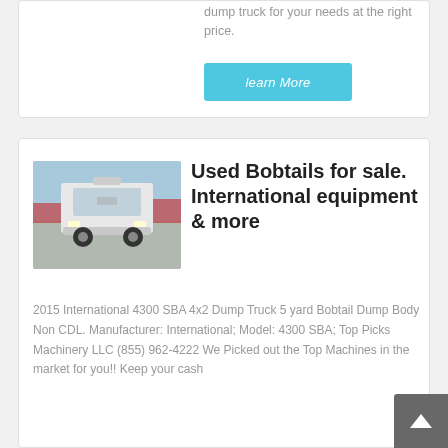dump truck for your needs at the right price.
learn More
[Figure (photo): White heavy truck/bobtail viewed from front, in a parking area with red equipment in background, blue sky]
Used Bobtails for sale. International equipment & more
2015 International 4300 SBA 4x2 Dump Truck 5 yard Bobtail Dump Body Non CDL. Manufacturer: International; Model: 4300 SBA; Top Picks Machinery LLC (855) 962-4222 We Picked out the Top Machines in the market for you!! Keep your cash